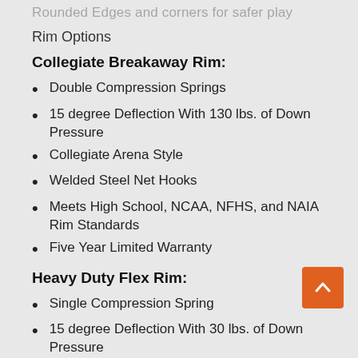Rounded Edges and corners for safer play
Rim Options
Collegiate Breakaway Rim:
Double Compression Springs
15 degree Deflection With 130 lbs. of Down Pressure
Collegiate Arena Style
Welded Steel Net Hooks
Meets High School, NCAA, NFHS, and NAIA Rim Standards
Five Year Limited Warranty
Heavy Duty Flex Rim:
Single Compression Spring
15 degree Deflection With 30 lbs. of Down Pressure
Spring Guard Cover for Arena Look